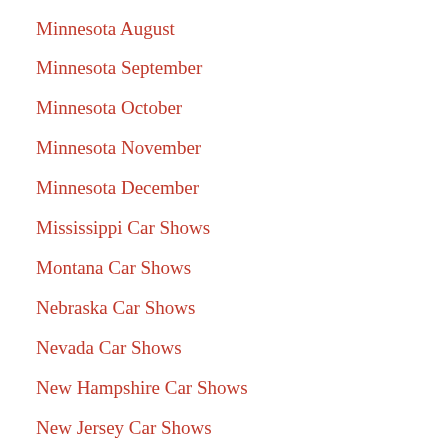Minnesota August
Minnesota September
Minnesota October
Minnesota November
Minnesota December
Mississippi Car Shows
Montana Car Shows
Nebraska Car Shows
Nevada Car Shows
New Hampshire Car Shows
New Jersey Car Shows